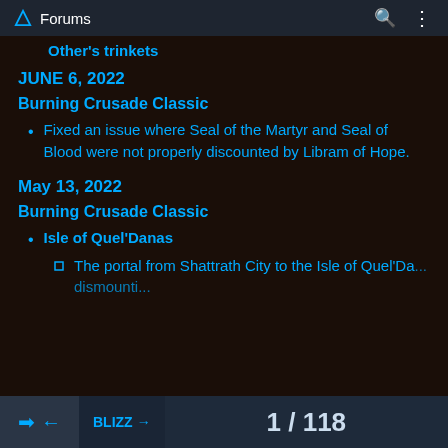Forums
Other's trinkets
JUNE 6, 2022
Burning Crusade Classic
Fixed an issue where Seal of the Martyr and Seal of Blood were not properly discounted by Libram of Hope.
May 13, 2022
Burning Crusade Classic
Isle of Quel'Danas
The portal from Shattrath City to the Isle of Quel'Da... dismounti...
1 / 118